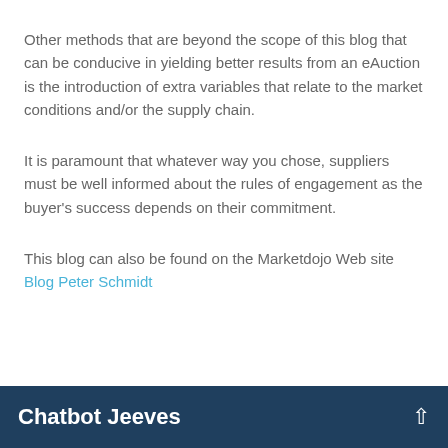Other methods that are beyond the scope of this blog that can be conducive in yielding better results from an eAuction is the introduction of extra variables that relate to the market conditions and/or the supply chain.
It is paramount that whatever way you chose, suppliers must be well informed about the rules of engagement as the buyer's success depends on their commitment.
This blog can also be found on the Marketdojo Web site Blog Peter Schmidt
Chatbot Jeeves